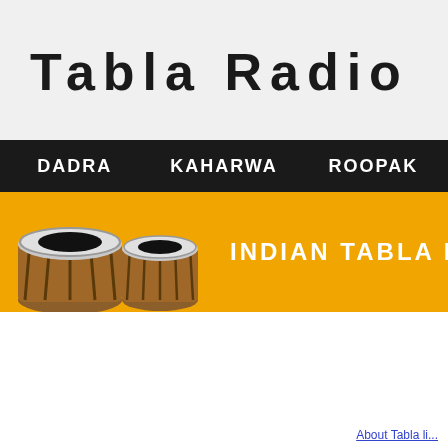Tabla Radio
[Figure (infographic): Navigation bar with dark background showing tabs: DADRA, KAHARWA, ROOPAK in white bold text]
[Figure (photo): Orange banner with two tabla drums on the left and text INDIAN TABLA R on the right in white bold letters]
About Tabla li...